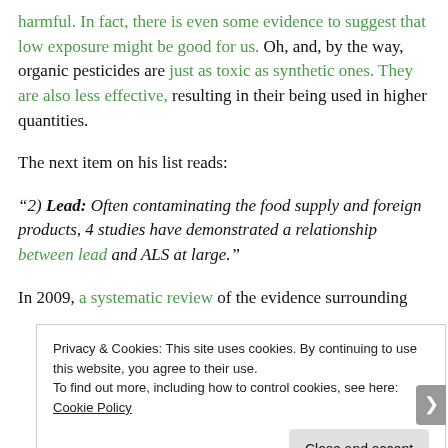harmful. In fact, there is even some evidence to suggest that low exposure might be good for us. Oh, and, by the way, organic pesticides are just as toxic as synthetic ones. They are also less effective, resulting in their being used in higher quantities.
The next item on his list reads:
“2) Lead: Often contaminating the food supply and foreign products, 4 studies have demonstrated a relationship between lead and ALS at large.”
In 2009, a systematic review of the evidence surrounding
Privacy & Cookies: This site uses cookies. By continuing to use this website, you agree to their use. To find out more, including how to control cookies, see here: Cookie Policy